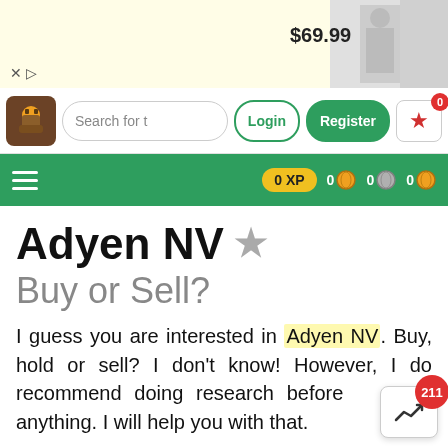[Figure (screenshot): Ad banner showing clothing items with price $69.99]
Search for t  Login  Register  0
0 XP  0  0  0
Adyen NV ☆
Buy or Sell?
I guess you are interested in Adyen NV. Buy, hold or sell? I don't know! However, I do recommend doing research before buying anything. I will help you with that.